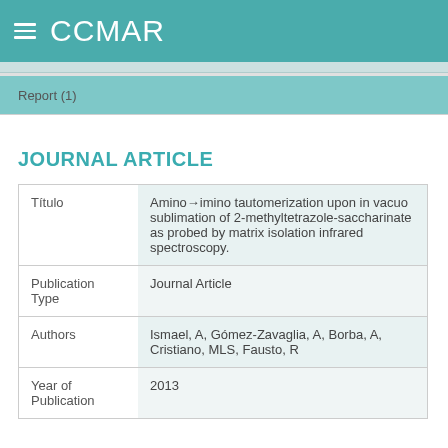CCMAR
Report (1)
JOURNAL ARTICLE
| Field | Value |
| --- | --- |
| Título | Amino→imino tautomerization upon in vacuo sublimation of 2-methyltetrazole-saccharinate as probed by matrix isolation infrared spectroscopy. |
| Publication Type | Journal Article |
| Authors | Ismael, A, Gómez-Zavaglia, A, Borba, A, Cristiano, MLS, Fausto, R |
| Year of Publication | 2013 |